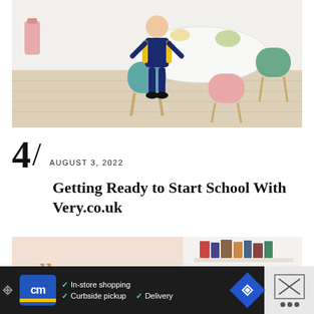[Figure (photo): A young boy in school uniform (navy blue) with a yellow backpack, sitting on a teal chair at a white round dining table. The kitchen/dining area has light wood flooring, colourful chairs (pink, green, teal) and a white bin in the background.]
AUGUST 3, 2022
Getting Ready to Start School With Very.co.uk
[Figure (photo): Partial view of a room with a pink wall displaying wooden letter decorations spelling 'all this' and a white bookshelf with books.]
[Figure (other): Advertisement bar at the bottom: CM Furniture logo with checkmarks listing In-store shopping, Curbside pickup, Delivery, and a blue navigation diamond icon. Close button on the right.]